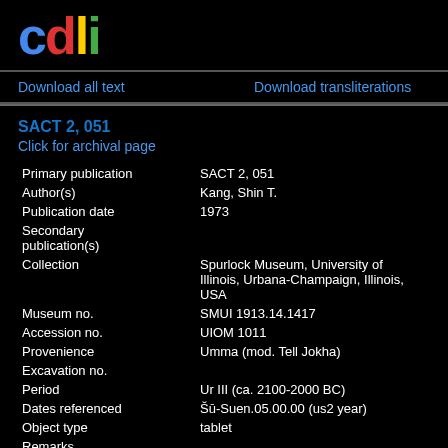[Figure (logo): CDLI logo with colored letters: c (blue), d (red), l (yellow), i (green)]
Download all text
Download transliterations
SACT 2, 051
Click for archival page
| Primary publication | SACT 2, 051 |
| Author(s) | Kang, Shin T. |
| Publication date | 1973 |
| Secondary publication(s) |  |
| Collection | Spurlock Museum, University of Illinois, Urbana-Champaign, Illinois, USA |
| Museum no. | SMUI 1913.14.1417 |
| Accession no. | UIOM 1011 |
| Provenience | Umma (mod. Tell Jokha) |
| Excavation no. |  |
| Period | Ur III (ca. 2100-2000 BC) |
| Dates referenced | Šū-Suen.05.00.00 (us2 year) |
| Object type | tablet |
| Remarks |  |
| Material | clay |
| Language | Sumerian |